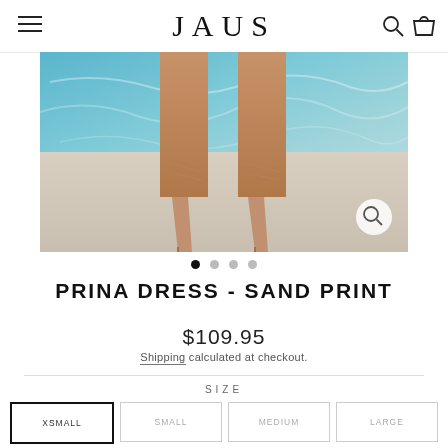JAUS
[Figure (photo): Close-up photo of a woman's legs wearing nude lace-up high heel sandals, standing near a swimming pool with blue water visible in the background.]
PRINA DRESS - SAND PRINT
$109.95
Shipping calculated at checkout.
SIZE
XSMALL   SMALL   MEDIUM   LARGE